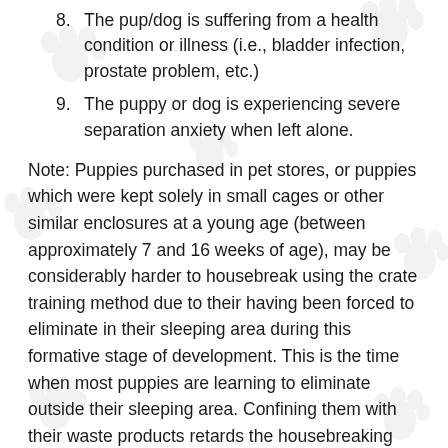8. The pup/dog is suffering from a health condition or illness (i.e., bladder infection, prostate problem, etc.)
9. The puppy or dog is experiencing severe separation anxiety when left alone.
Note: Puppies purchased in pet stores, or puppies which were kept solely in small cages or other similar enclosures at a young age (between approximately 7 and 16 weeks of age), may be considerably harder to housebreak using the crate training method due to their having been forced to eliminate in their sleeping area during this formative stage of development. This is the time when most puppies are learning to eliminate outside their sleeping area. Confining them with their waste products retards the housebreaking process, and this problem can continue throughout a dog's adult life.